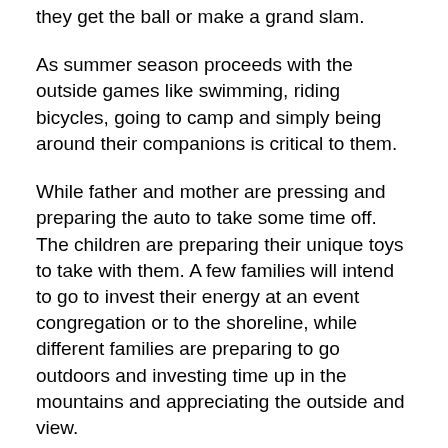they get the ball or make a grand slam.
As summer season proceeds with the outside games like swimming, riding bicycles, going to camp and simply being around their companions is critical to them.
While father and mother are pressing and preparing the auto to take some time off. The children are preparing their unique toys to take with them. A few families will intend to go to invest their energy at an event congregation or to the shoreline, while different families are preparing to go outdoors and investing time up in the mountains and appreciating the outside and view.
Summer is a bustling time, yet can likewise be an incredible time to appreciate the family and be as one. Requiring significant investment with your family is so vital today since days appear to be so occupied and our calendars are so full with work and different exercises